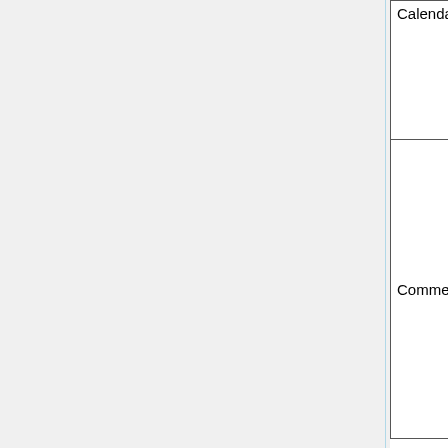|  | Label | Content |
| --- | --- | --- |
|  | Calendar | 1st CD provided in November
2nd CD provided in October
DIS published in October 2
Further to virtual meeting in |
|  | Comments | WG9 is working on the follo
20546 : big data overvie
20547 : big data referen
Part 1: Framework a
Part 2: Use cases a
Part 3: Reference a
Part 4: Security and
Part 5: Standards ro
Part 4 is transferred to SC2
[Antonio Kung] The 20547 i transport, energy...). 20547
contain the generic elemen
address the 5 Vs conce |